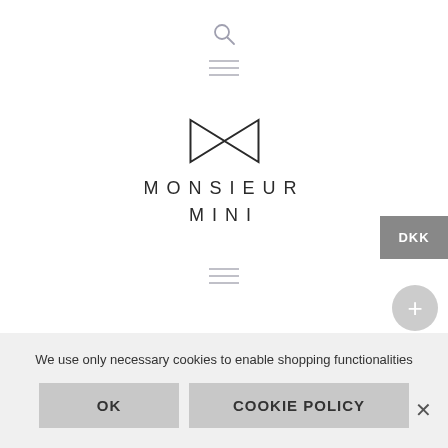[Figure (logo): Search icon (magnifying glass) at top center]
[Figure (illustration): Hamburger menu icon (three horizontal lines) near top center]
[Figure (logo): Monsieur Mini logo with bow-tie icon and text MONSIEUR MINI]
DKK
[Figure (illustration): Hamburger menu icon (three horizontal lines) middle center]
[Figure (illustration): Plus button circle on right side]
[Figure (illustration): Sale! badge circle at lower left]
We use only necessary cookies to enable shopping functionalities
OK
COOKIE POLICY